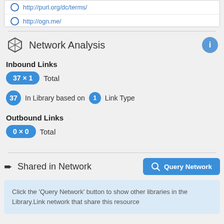http://purl.org/dc/terms/
http://ogn.me/
Network Analysis
Inbound Links
37 × 1  Total
37  In Library based on  1  Link Type
Outbound Links
0 × 0  Total
Shared in Network
Query Network
Click the 'Query Network' button to show other libraries in the Library.Link network that share this resource